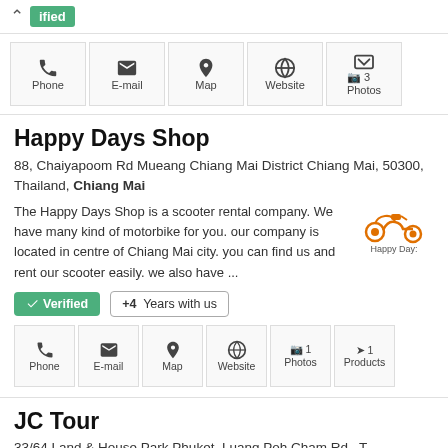ified (verified badge, partial)
Phone, E-mail, Map, Website, 3 Photos (icon action row)
Happy Days Shop
88, Chaiyapoom Rd Mueang Chiang Mai District Chiang Mai, 50300, Thailand, Chiang Mai
The Happy Days Shop is a scooter rental company. We have many kind of motorbike for you. our company is located in centre of Chiang Mai city. you can find us and rent our scooter easily. we also have ...
[Figure (logo): Orange scooter icon with Happy Days text logo]
✓ Verified  +4 Years with us
Phone, E-mail, Map, Website, 1 Photos, 1 Products (icon action row)
JC Tour
33/64 Land & House Park Phuket, Luang Poh Cham Rd., T...